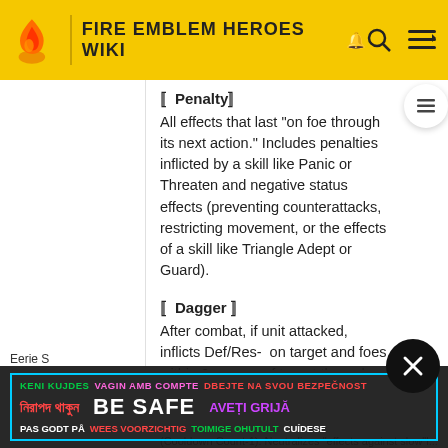FIRE EMBLEM HEROES WIKI
〚Penalty〛
All effects that last "on foe through its next action." Includes penalties inflicted by a skill like Panic or Threaten and negative status effects (preventing counterattacks, restricting movement, or the effects of a skill like Triangle Adept or Guard).
〚Dagger 〛
After combat, if unit attacked, inflicts Def/Res-  on target and foes within 2 spaces of target through their next actions.
KENI KUJDES  VAGIN AMB COMPTE  DBEJTE NA SVOU BEZPEČNOST  নিরাপদ থাকুন  BE SAFE  AVEȚI GRIJĂ  PAS GODT PÅ  WEES VOORZICHTIG  TOIMIGE OHUTULT  CUÍDESE
Eerie S
(Cooldown Count-1). Neutralizes "effects against slow"l...